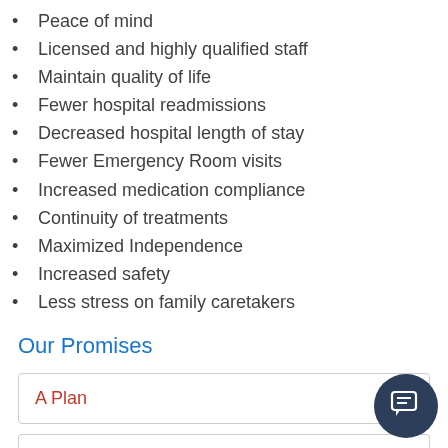Peace of mind
Licensed and highly qualified staff
Maintain quality of life
Fewer hospital readmissions
Decreased hospital length of stay
Fewer Emergency Room visits
Increased medication compliance
Continuity of treatments
Maximized Independence
Increased safety
Less stress on family caretakers
Our Promises
A Plan
Screening